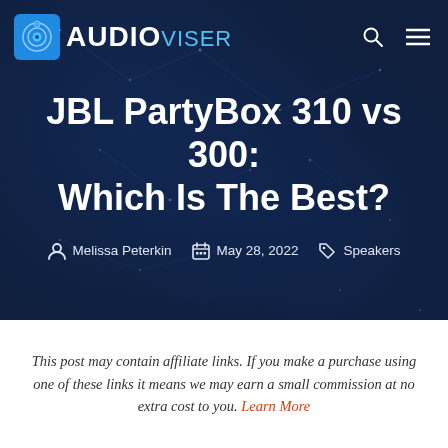AUDIOVISER
JBL PartyBox 310 vs 300: Which Is The Best?
Melissa Peterkin · May 28, 2022 · Speakers
This post may contain affiliate links. If you make a purchase using one of these links it means we may earn a small commission at no extra cost to you. Learn More